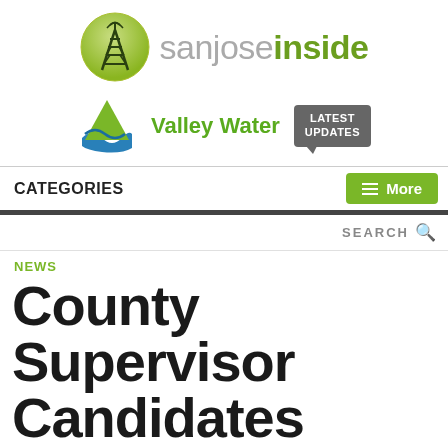[Figure (logo): San Jose Inside logo with green tower icon in circle and text 'sanjoseinside' in gray and green]
[Figure (logo): Valley Water logo with green triangle droplet and blue wave, with 'LATEST UPDATES' speech bubble badge]
CATEGORIES   More
SEARCH
NEWS
County Supervisor Candidates Square Off Over